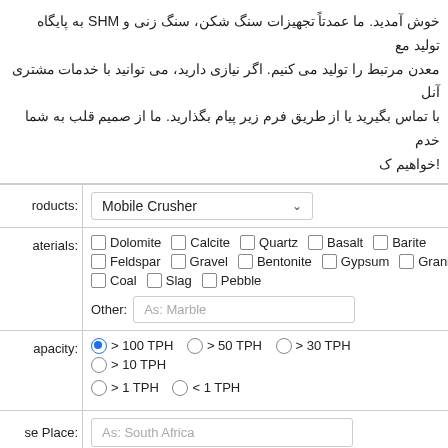خوش آمدید. ما عمدتاً تجهیزات سنگ شکن، سنگ زنی و SHM به پایگاه تولید مع... معدن مرتبط را تولید می کنیم. اگر نیازی دارید، می توانید با خدمات مشتری آنل... با تماس بگیرید یا از طریق فرم زیر پیام بگذارید. ما از صمیم قلب به شما خدم... !خواهیم ک
| Field | Value |
| --- | --- |
| roducts: | Mobile Crusher (dropdown) |
| aterials: | Dolomite, Calcite, Quartz, Basalt, Barite, Feldspar, Gravel, Bentonite, Gypsum, Granite, Coal, Slag, Pebble, Other: As: Marble |
| apacity: | > 100 TPH (selected), > 50 TPH, > 30 TPH, > 10 TPH, > 1 TPH, < 1 TPH |
| se Place: | As: South Africa |
| ame:* | As: Mario |